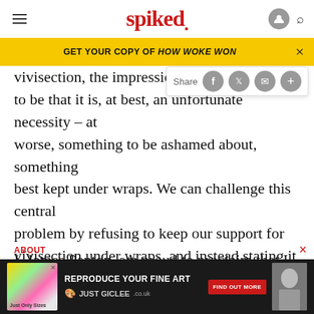spiked
GET YOUR COPY OF HOW WOKE WON
vivisection, the impression of vi... to be that it is, at best, an unfortunate necessity – at worse, something to be ashamed about, something best kept under wraps. We can challenge this central problem by refusing to keep our support for vivisection under wraps, and instead stating it loudly and proudly.
I, James Panton, am proud to proclaim that I support vivisection...
ABOUT
[Figure (screenshot): Advertisement banner: REPRODUCE YOUR FINE ART - JUST GICLEE.co.uk with FIND OUT MORE button]